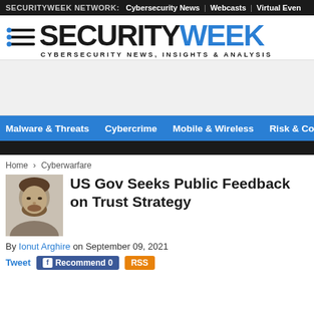SECURITYWEEK NETWORK: Cybersecurity News | Webcasts | Virtual Even
[Figure (logo): SecurityWeek logo with icon showing dots and speed lines, tagline CYBERSECURITY NEWS, INSIGHTS & ANALYSIS]
[Figure (other): Advertisement placeholder area]
Malware & Threats | Cybercrime | Mobile & Wireless | Risk & Complia
Home › Cyberwarfare
US Gov Seeks Public Feedback on Trust Strategy
By Ionut Arghire on September 09, 2021
Tweet  Recommend 0  RSS